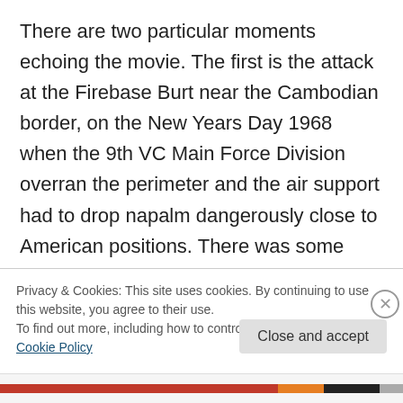There are two particular moments echoing the movie. The first is the attack at the Firebase Burt near the Cambodian border, on the New Years Day 1968 when the 9th VC Main Force Division overran the perimeter and the air support had to drop napalm dangerously close to American positions. There was some hand to hand fighting that night, and in the morning bulldozers were digging mass graves for the dead Vietcong — the enemy body count was about 500, against surprisingly low american casualties (unlike in the movie, where it was like a final
Privacy & Cookies: This site uses cookies. By continuing to use this website, you agree to their use.
To find out more, including how to control cookies, see here: Cookie Policy